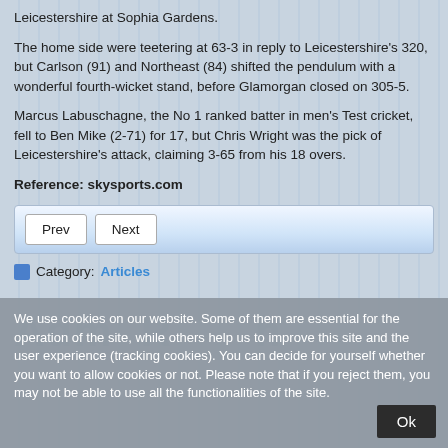Leicestershire at Sophia Gardens.
The home side were teetering at 63-3 in reply to Leicestershire's 320, but Carlson (91) and Northeast (84) shifted the pendulum with a wonderful fourth-wicket stand, before Glamorgan closed on 305-5.
Marcus Labuschagne, the No 1 ranked batter in men's Test cricket, fell to Ben Mike (2-71) for 17, but Chris Wright was the pick of Leicestershire's attack, claiming 3-65 from his 18 overs.
Reference: skysports.com
Prev  Next
Category: Articles
We use cookies on our website. Some of them are essential for the operation of the site, while others help us to improve this site and the user experience (tracking cookies). You can decide for yourself whether you want to allow cookies or not. Please note that if you reject them, you may not be able to use all the functionalities of the site.